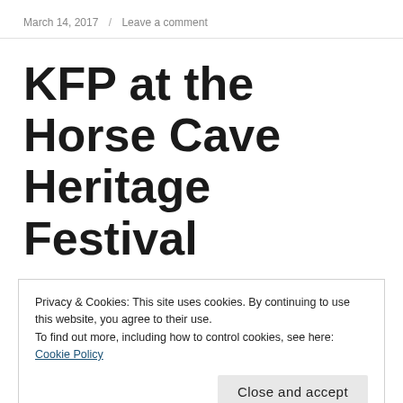March 14, 2017 / Leave a comment
KFP at the Horse Cave Heritage Festival
KFP is making the trip to nearby Horse Cave,
Privacy & Cookies: This site uses cookies. By continuing to use this website, you agree to their use.
To find out more, including how to control cookies, see here: Cookie Policy
Close and accept
videos   Continue reading